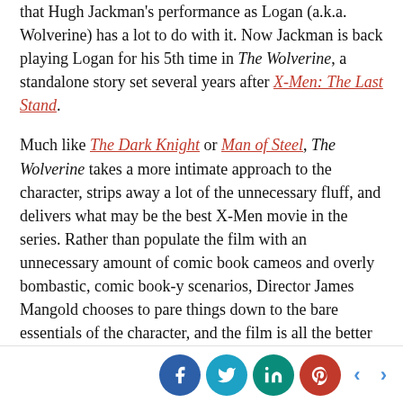that Hugh Jackman's performance as Logan (a.k.a. Wolverine) has a lot to do with it. Now Jackman is back playing Logan for his 5th time in The Wolverine, a standalone story set several years after X-Men: The Last Stand.
Much like The Dark Knight or Man of Steel, The Wolverine takes a more intimate approach to the character, strips away a lot of the unnecessary fluff, and delivers what may be the best X-Men movie in the series. Rather than populate the film with an unnecessary amount of comic book cameos and overly bombastic, comic book-y scenarios, Director James Mangold chooses to pare things down to the bare essentials of the character, and the film is all the better for it.
[Figure (infographic): Social sharing footer bar with Facebook, Twitter, LinkedIn, Pinterest buttons and left/right navigation arrows]